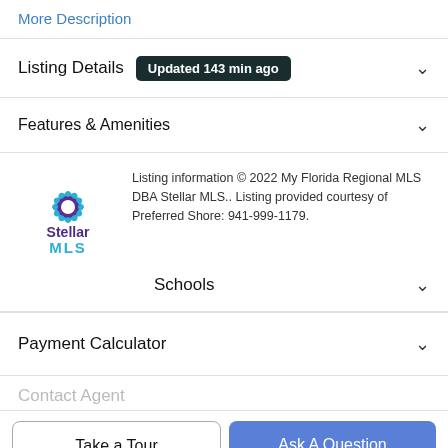More Description
Listing Details  Updated 143 min ago
Features & Amenities
Listing information © 2022 My Florida Regional MLS DBA Stellar MLS.. Listing provided courtesy of Preferred Shore: 941-999-1179.
Schools
Payment Calculator
Contact Agent
Take a Tour
Ask A Question